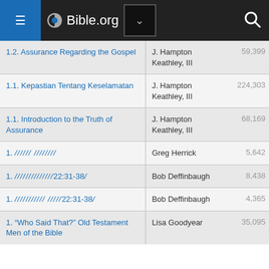Bible.org
| Title | Author | Count |
| --- | --- | --- |
| 1.2. Assurance Regarding the Gospel | J. Hampton Keathley, III | 59,399 |
| 1.1. Kepastian Tentang Keselamatan | J. Hampton Keathley, III | 224,303 |
| 1.1. Introduction to the Truth of Assurance | J. Hampton Keathley, III | 68,169 |
| 1. [garbled text] | Greg Herrick | 5,642 |
| 1. [garbled text]22:31-38[garbled] | Bob Deffinbaugh | 8,438 |
| 1. [garbled text]22:31-38[garbled] | Bob Deffinbaugh | 4,365 |
| 1. “Who Said That?” Old Testament Men of the Bible | Lisa Goodyear | 35,095 |